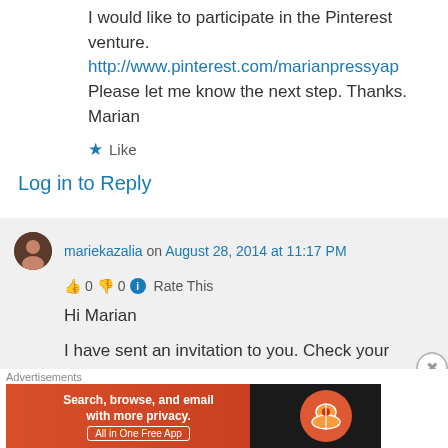I would like to participate in the Pinterest venture. http://www.pinterest.com/marianpressyap Please let me know the next step. Thanks. Marian
★ Like
Log in to Reply
mariekazalia on August 28, 2014 at 11:17 PM
👍 0 👎 0 ℹ Rate This
Hi Marian
I have sent an invitation to you. Check your
Advertisements
[Figure (screenshot): DuckDuckGo advertisement banner: Search, browse, and email with more privacy. All in One Free App]